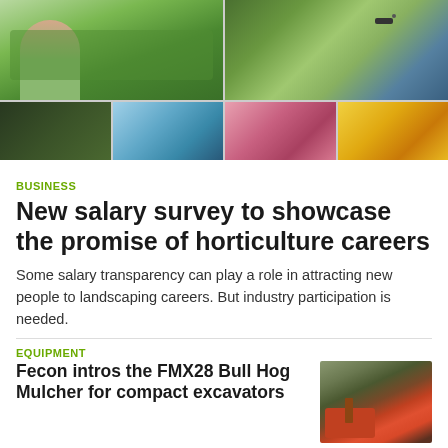[Figure (photo): Photo collage of horticulture scenes: plants, drone over field, greenhouse, flowers]
BUSINESS
New salary survey to showcase the promise of horticulture careers
Some salary transparency can play a role in attracting new people to landscaping careers. But industry participation is needed.
EQUIPMENT
Fecon intros the FMX28 Bull Hog Mulcher for compact excavators
[Figure (photo): Photo of Fecon FMX28 Bull Hog Mulcher attached to a compact excavator in a wooded area]